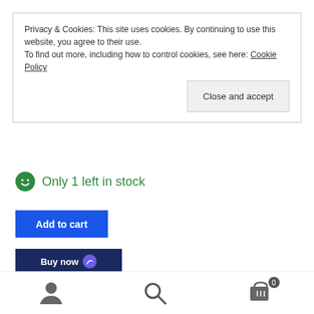Privacy & Cookies: This site uses cookies. By continuing to use this website, you agree to their use. To find out more, including how to control cookies, see here: Cookie Policy
Close and accept
Only 1 left in stock
Add to cart
Buy now